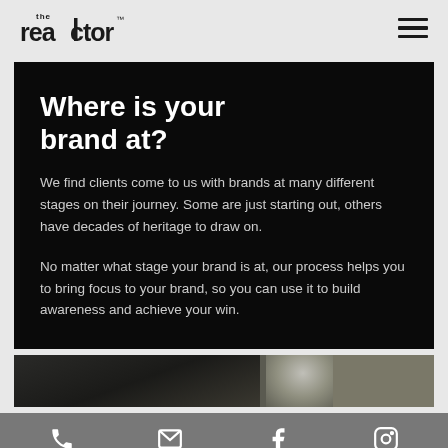[Figure (logo): The Reactor logo — 'the' in small text above 'realtor' in bold stylized font with trademark symbol]
[Figure (other): Hamburger menu icon (three horizontal lines)]
Where is your brand at?
We find clients come to us with brands at many different stages on their journey. Some are just starting out, others have decades of heritage to draw on.
No matter what stage your brand is at, our process helps you to bring focus to your brand, so you can use it to build awareness and achieve your win.
[Figure (photo): Partially visible photograph of a building exterior with glass/metal elements]
Phone | Email | Facebook | Instagram icons